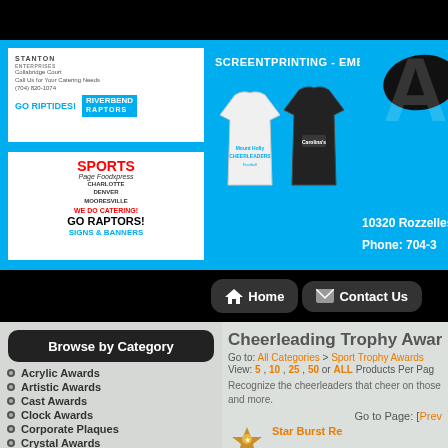[Figure (screenshot): Website banner with sponsor ads (Stanton Enterprises, Sports Page) and screentprinting/embroidery business (Riverbend) with t-shirts, address 10320 Rozzelles, Phone 704-3...]
Home | Contact Us
Browse by Category
Acrylic Awards
Artistic Awards
Cast Awards
Clock Awards
Corporate Plaques
Crystal Awards
Cup Trophy Awards
Economy Awards
Gift Awards
Cheerleading Trophy Awards
Go to: All Categories > Sport Trophy Awards
View: 5 , 10 , 25 , 50 or ALL Products Per Page
Recognize the cheerleaders that cheer on those... and more.
Go to Page: [Prev
Star Burst Re